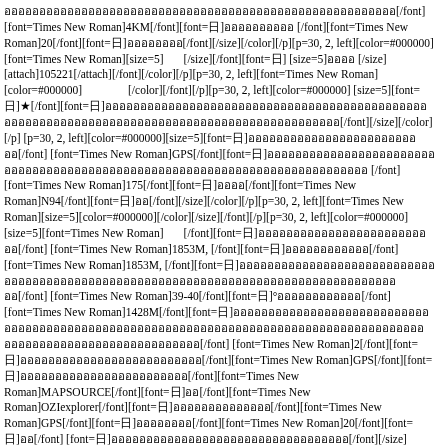[font][/font][font=Times New Roman]4KM[/font][font=日]ออออออออออ[/font][font=Times New Roman]20[/font][font=日]ออออออออ[/font][/size][/color][/p][p=30, 2, left][color=#000000][font=Times New Roman][size=5]       [/size][/font][font=日][size=5]ออออ
[/size][attach]105221[/attach][/font][/color][/p][p=30, 2, left][font=Times New Roman][color=#000000]                [/color][/font][/p][p=30, 2, left][color=#000000][size=5][font=日]★[/font][font=日]ออออออออออออออออออออออออออออออออออออออออออออออ[/font][/size][/color][/p][p=30, 2, left][color=#000000][size=5][font=日]ออออออออออออออออออออออออออ[/font][font=Times New Roman]GPS[/font][font=日]ออออออออออออออออออออออออออออออออออออออออออออออออ[/font][font=Times New Roman]175[/font][font=日]ออออ[/font][font=Times New Roman]N94[/font][font=日]ออ[/font][/size][/color][/p][p=30, 2, left][font=Times New Roman][size=5][color=#000000][/color][/size][/font][/p][p=30, 2, left][color=#000000][size=5][font=Times New Roman]       [/font][font=日]ออออออออออออออออออออออออ[/font][font=Times New Roman]1853M, [/font][font=日]ออออออออออออ[/font][font=Times New Roman]1853M, [/font][font=日]ออออออออออออออออออออออออออออออออออออออออออออออ[/font][font=Times New Roman]39-40[/font][font=日]°ออออออออออออ[/font][font=Times New Roman]1428M[/font][font=日]ออออออออออออออออออออออออออออออออออออออออออออออออออออออออออ[/font][font=Times New Roman]2[/font][font=日]ออออออออออออออออออ[/font][font=Times New Roman]GPS[/font][font=日]ออออออออออออออออออออออออ[/font][font=Times New Roman]MAPSOURCE[/font][font=日]ออ[/font][font=Times New Roman]OZIexplorer[/font][font=日]ออออออออออออออ[/font][font=Times New Roman]GPS[/font][font=日]ออออออออออออ[/font][font=Times New Roman]20[/font][font=日]ออ[/font][font=日]ออออออออออออออออออออออออออ[/font][/size][/color][/p][p=30, 2, left][font=日][size=5][color=#000000]ออออออ:[/color][/size][/font][/p][p=30, 2, left][font=日][size=5][color=#000000][attach]105222[/attach][/color][/size][/font][/p][p=30, 2, left][font=Times New Roman][size=5][color=#000000][/color][/size][/font][/p][p=30, 2, left][color=#000000][size=5][font=日]★[/font][font=Times New Roman]N94[/font][font=日]ออออออออออออออ[/font][font=Times New Roman]GPS[/font][font=日]ออออออออออออออออออออออออออออ[/font][font=Times New Roman]GPS[/font][font=日]ออออออออออออออออออออออออออ[/font][font=Times New Roman]GPS[/font][font=日]ออออออออออออออออออออออออออออออออออออออออออออออออออออออออ[/font]